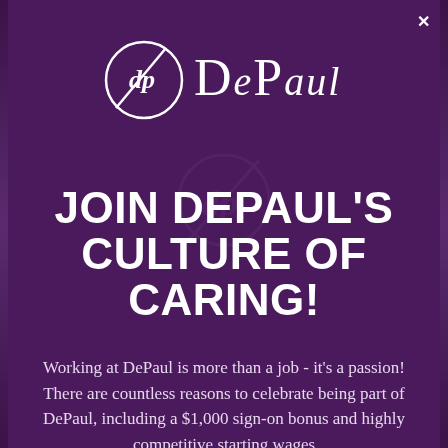[Figure (logo): DePaul logo with stylized 'dp' circular emblem and 'DePaul' wordmark in white on dark purple background]
JOIN DEPAUL'S CULTURE OF CARING!
Working at DePaul is more than a job - it's a passion! There are countless reasons to celebrate being part of DePaul, including a $1,000 sign-on bonus and highly competitive starting wages